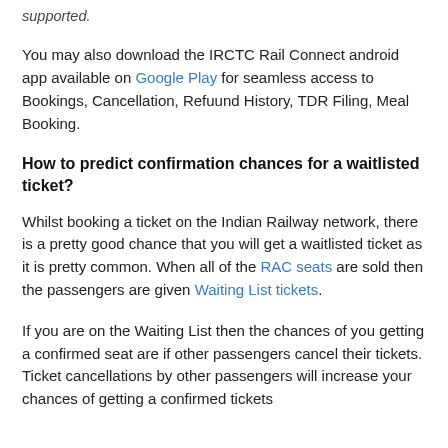supported.
You may also download the IRCTC Rail Connect android app available on Google Play for seamless access to Bookings, Cancellation, Refuund History, TDR Filing, Meal Booking.
How to predict confirmation chances for a waitlisted ticket?
Whilst booking a ticket on the Indian Railway network, there is a pretty good chance that you will get a waitlisted ticket as it is pretty common. When all of the RAC seats are sold then the passengers are given Waiting List tickets.
If you are on the Waiting List then the chances of you getting a confirmed seat are if other passengers cancel their tickets. Ticket cancellations by other passengers will increase your chances of getting a confirmed tickets